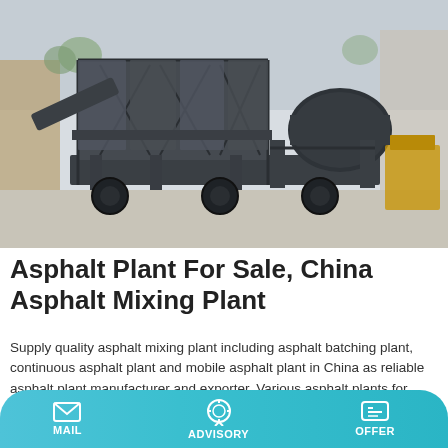[Figure (photo): A mobile asphalt mixing plant on wheels, dark gray metal frame structure with a cylindrical drum mixer on the right side, parked in an outdoor industrial yard with trees and buildings in background.]
Asphalt Plant For Sale, China Asphalt Mixing Plant
Supply quality asphalt mixing plant including asphalt batching plant, continuous asphalt plant and mobile asphalt plant in China as reliable asphalt plant manufacturer and exporter. Various asphalt plants for …
Learn More
MAIL  ADVISORY  OFFER